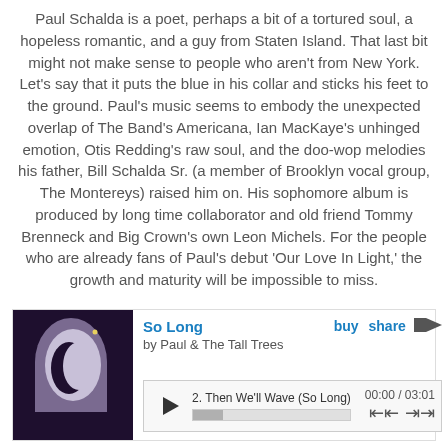Paul Schalda is a poet, perhaps a bit of a tortured soul, a hopeless romantic, and a guy from Staten Island. That last bit might not make sense to people who aren't from New York. Let's say that it puts the blue in his collar and sticks his feet to the ground. Paul's music seems to embody the unexpected overlap of The Band's Americana, Ian MacKaye's unhinged emotion, Otis Redding's raw soul, and the doo-wop melodies his father, Bill Schalda Sr. (a member of Brooklyn vocal group, The Montereys) raised him on. His sophomore album is produced by long time collaborator and old friend Tommy Brenneck and Big Crown's own Leon Michels. For the people who are already fans of Paul's debut 'Our Love In Light,' the growth and maturity will be impossible to miss.
[Figure (screenshot): A music player widget showing album art (a silhouette of a face against a moon/window on dark purple background) and track info: 'So Long' by Paul & The Tall Trees, track 2 'Then We'll Wave (So Long)', time 00:00 / 03:01, with play button, progress bar, and navigation controls. Bandcamp logo visible.]